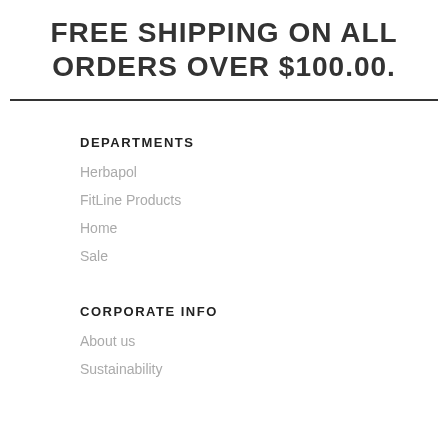FREE SHIPPING ON ALL ORDERS OVER $100.00.
DEPARTMENTS
Herbapol
FitLine Products
Home
Sale
CORPORATE INFO
About us
Sustainability